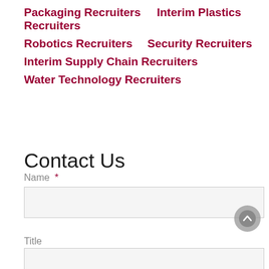Packaging Recruiters   Interim Plastics Recruiters
Robotics Recruiters   Security Recruiters
Interim Supply Chain Recruiters
Water Technology Recruiters
Contact Us
Name *
Title